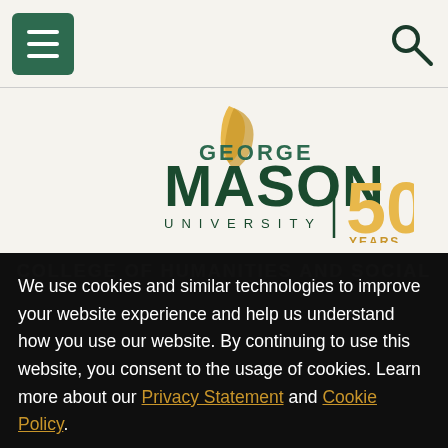George Mason University navigation bar with menu and search icons
[Figure (logo): George Mason University logo with '50' anniversary badge in gold]
COLLEGE OF HUMANITIES AND SOCIAL
We use cookies and similar technologies to improve your website experience and help us understand how you use our website. By continuing to use this website, you consent to the usage of cookies. Learn more about our Privacy Statement and Cookie Policy.
Agree
Decline Non-Essential Cookies